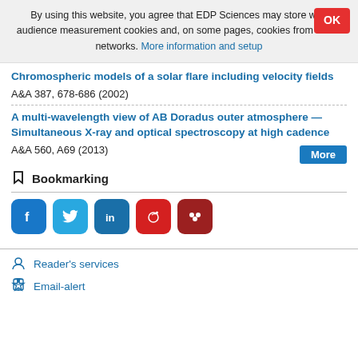By using this website, you agree that EDP Sciences may store web audience measurement cookies and, on some pages, cookies from social networks. More information and setup
Chromospheric models of a solar flare including velocity fields
A&A 387, 678-686 (2002)
A multi-wavelength view of AB Doradus outer atmosphere — Simultaneous X-ray and optical spectroscopy at high cadence
A&A 560, A69 (2013)
Bookmarking
[Figure (other): Social media bookmarking icons: Facebook, Twitter, LinkedIn, Weibo, Mendeley]
Reader's services
Email-alert